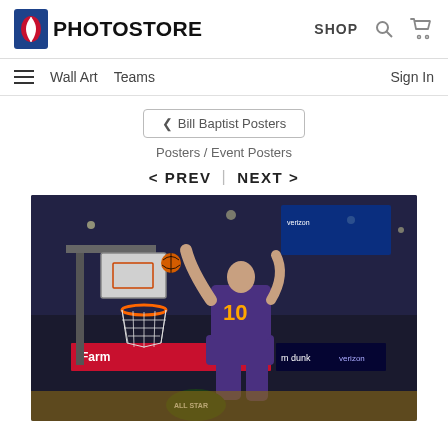NBA PHOTOSTORE | SHOP
Wall Art  Teams  Sign In
< Bill Baptist Posters
Posters / Event Posters
< PREV  |  NEXT >
[Figure (photo): NBA player wearing #10 Phoenix Suns jersey dunking a basketball at the NBA All-Star game, viewed from behind/below, with arena crowd and sponsor banners (Farm, verizon, m dunk) visible in the background]